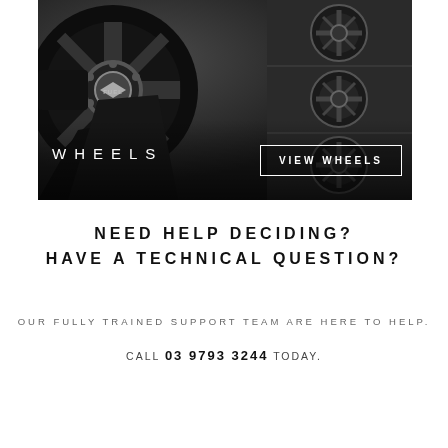[Figure (photo): Dark photograph of black alloy wheels (FUEL brand hub cap visible), with additional wheels displayed in the background on the right side. Overlay text 'WHEELS' on the bottom left and a 'VIEW WHEELS' button outline on the bottom right.]
NEED HELP DECIDING?
HAVE A TECHNICAL QUESTION?
OUR FULLY TRAINED SUPPORT TEAM ARE HERE TO HELP.
CALL 03 9793 3244 TODAY.